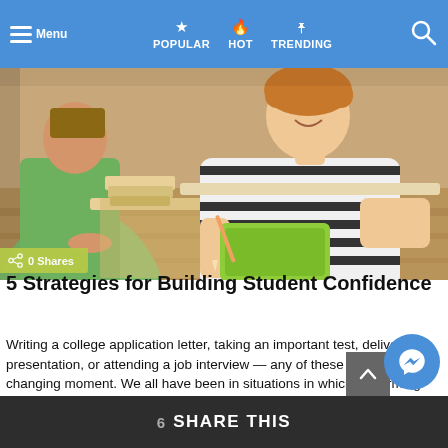Menu  POPULAR  HOT  TRENDING
[Figure (photo): Students sitting at desks in a classroom; a smiling girl in a black-and-white striped top holding a green notebook is prominent in the foreground; another student in green is visible on the left.]
5 Strategies for Building Student Confidence
Writing a college application letter, taking an important test, delivering a presentation, or attending a job interview — any of these can be a life-changing moment. We all have been in situations in which performing well is essential to achieving our ultimate goals. These are the events we prepare for, run through the material back [...] MORE
6 SHARE THIS